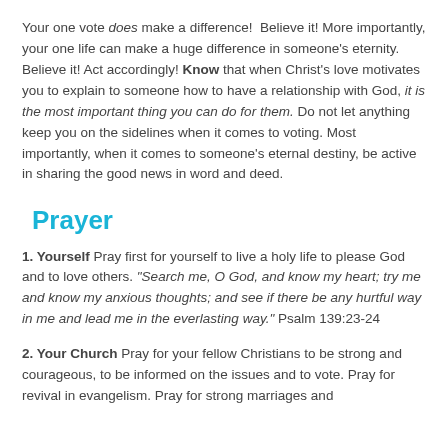Your one vote does make a difference!  Believe it! More importantly, your one life can make a huge difference in someone's eternity. Believe it! Act accordingly! Know that when Christ's love motivates you to explain to someone how to have a relationship with God, it is the most important thing you can do for them. Do not let anything keep you on the sidelines when it comes to voting. Most importantly, when it comes to someone's eternal destiny, be active in sharing the good news in word and deed.
Prayer
1. Yourself Pray first for yourself to live a holy life to please God and to love others. “Search me, O God, and know my heart; try me and know my anxious thoughts; and see if there be any hurtful way in me and lead me in the everlasting way.” Psalm 139:23-24
2. Your Church Pray for your fellow Christians to be strong and courageous, to be informed on the issues and to vote. Pray for revival in evangelism. Pray for strong marriages and...